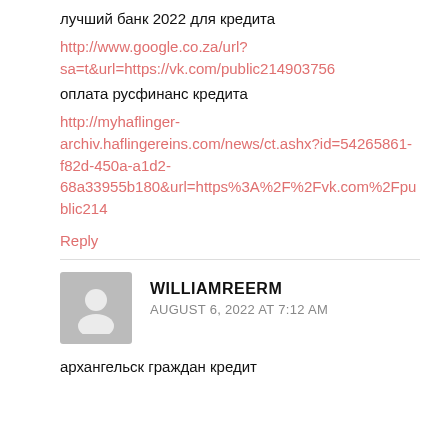лучший банк 2022 для кредита
http://www.google.co.za/url?sa=t&url=https://vk.com/public214903756
оплата русфинанс кредита
http://myhaflinger-archiv.haflingereins.com/news/ct.ashx?id=54265861-f82d-450a-a1d2-68a33955b180&url=https%3A%2F%2Fvk.com%2Fpublic214
Reply
WILLIAMREERM
AUGUST 6, 2022 AT 7:12 AM
архангельск граждан кредит